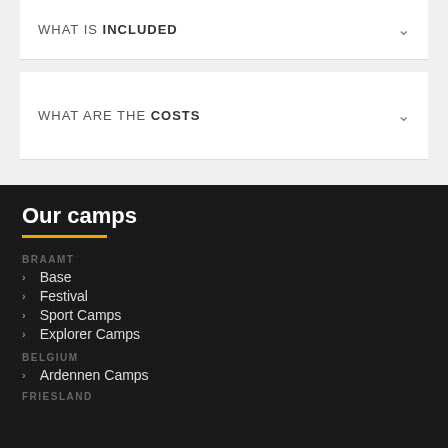WHAT IS INCLUDED
WHAT ARE THE COSTS
Our camps
BRAAMT
Base
Festival
Sport Camps
Explorer Camps
BELGIUM
Ardennen Camps
FRIESLAND